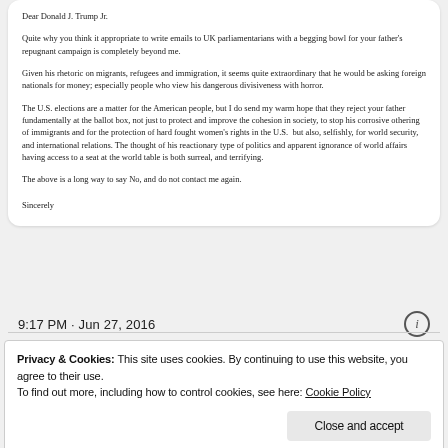Dear Donald J. Trump Jr.
Quite why you think it appropriate to write emails to UK parliamentarians with a begging bowl for your father's repugnant campaign is completely beyond me.
Given his rhetoric on migrants, refugees and immigration, it seems quite extraordinary that he would be asking foreign nationals for money; especially people who view his dangerous divisiveness with horror.
The U.S. elections are a matter for the American people, but I do send my warm hope that they reject your father fundamentally at the ballot box, not just to protect and improve the cohesion in society, to stop his corrosive othering of immigrants and for the protection of hard fought women's rights in the U.S.  but also, selfishly, for world security, and international relations. The thought of his reactionary type of politics and apparent ignorance of world affairs having access to a seat at the world table is both surreal, and terrifying.
The above is a long way to say No, and do not contact me again.
Sincerely
9:17 PM · Jun 27, 2016
Privacy & Cookies: This site uses cookies. By continuing to use this website, you agree to their use.
To find out more, including how to control cookies, see here: Cookie Policy
Close and accept